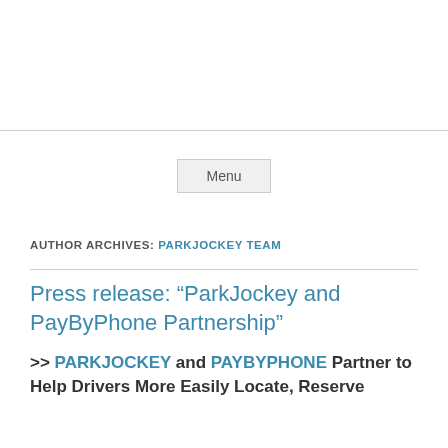Menu
AUTHOR ARCHIVES: PARKJOCKEY TEAM
Press release: “ParkJockey and PayByPhone Partnership”
>> PARKJOCKEY and PAYBYPHONE Partner to Help Drivers More Easily Locate, Reserve